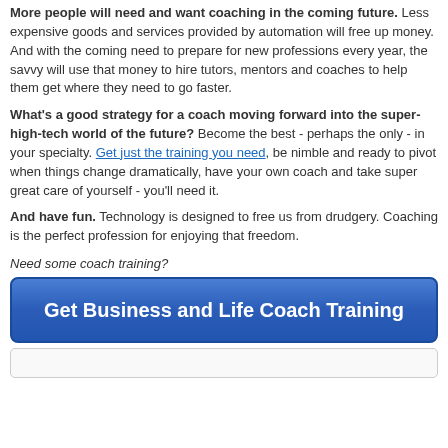More people will need and want coaching in the coming future. Less expensive goods and services provided by automation will free up money. And with the coming need to prepare for new professions every year, the savvy will use that money to hire tutors, mentors and coaches to help them get where they need to go faster.
What's a good strategy for a coach moving forward into the super-high-tech world of the future? Become the best - perhaps the only - in your specialty. Get just the training you need, be nimble and ready to pivot when things change dramatically, have your own coach and take super great care of yourself - you'll need it.
And have fun. Technology is designed to free us from drudgery. Coaching is the perfect profession for enjoying that freedom.
Need some coach training?
[Figure (other): Blue call-to-action button reading 'Get Business and Life Coach Training']